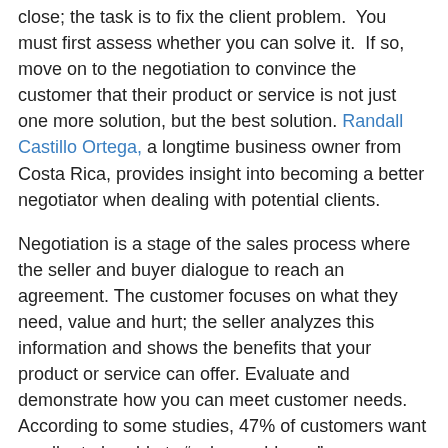close; the task is to fix the client problem.  You must first assess whether you can solve it.  If so, move on to the negotiation to convince the customer that their product or service is not just one more solution, but the best solution.  Randall Castillo Ortega, a longtime business owner from Costa Rica, provides insight into becoming a better negotiator when dealing with potential clients.
Negotiation is a stage of the sales process where the seller and buyer dialogue to reach an agreement. The customer focuses on what they need, value and hurt; the seller analyzes this information and shows the benefits that your product or service can offer. Evaluate and demonstrate how you can meet customer needs.  According to some studies, 47% of customers want a seller to be able to “solve problems.”
Trading strategies are the approaches with which the seller manages trading. The “how” can solve the problem and determine whether or not the sale is closed. And it also influences how profitable the deal will be.  Says Castillo, “To negotiate a sale, it is crucial to pay attention to the volume of